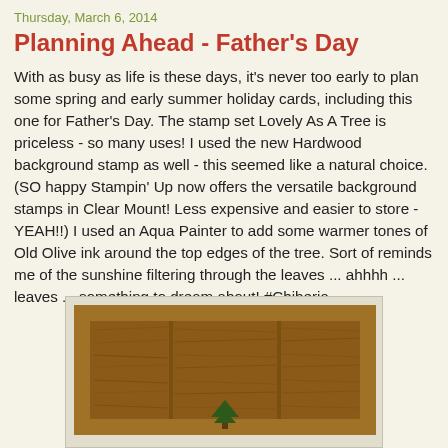Thursday, March 6, 2014
Planning Ahead - Father's Day
With as busy as life is these days, it's never too early to plan some spring and early summer holiday cards, including this one for Father's Day. The stamp set Lovely As A Tree is priceless - so many uses! I used the new Hardwood background stamp as well - this seemed like a natural choice. (SO happy Stampin' Up now offers the versatile background stamps in Clear Mount! Less expensive and easier to store - YEAH!!) I used an Aqua Painter to add some warmer tones of Old Olive ink around the top edges of the tree. Sort of reminds me of the sunshine filtering through the leaves ... ahhhh ... leaves ... something to dream about! #Chiberia
[Figure (photo): Handmade Father's Day card with hardwood background stamp showing wood grain panels in brown tones, with a small green tree element visible at the bottom center.]